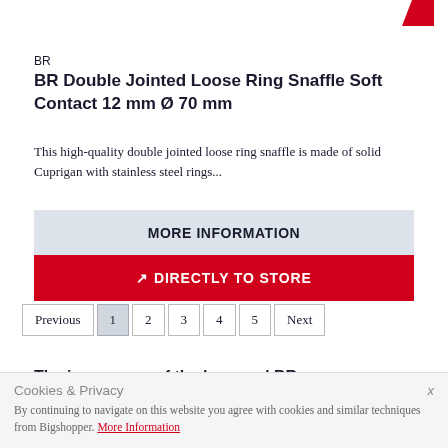[Figure (logo): Partial red logo/brand mark visible at top right corner]
BR
BR Double Jointed Loose Ring Snaffle Soft Contact 12 mm Ø 70 mm
This high-quality double jointed loose ring snaffle is made of solid Cuprigan with stainless steel rings...
MORE INFORMATION
DIRECTLY TO STORE
Previous 1 2 3 4 5 Next
The image area of the logo and BR
Cookies & Privacy
By continuing to navigate on this website you agree with cookies and similar techniques from Bigshopper. More Information